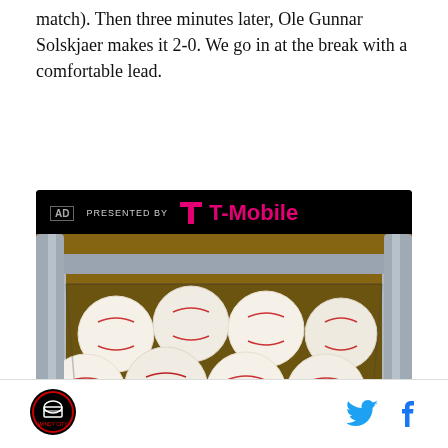match). Then three minutes later, Ole Gunnar Solskjaer makes it 2-0. We go in at the break with a comfortable lead.
[Figure (photo): Advertisement banner showing 'PRESENTED BY T-Mobile' logo in magenta on black background, above a photo of multiple white baseballs with red stitching piled in a metal wire/mesh batting practice bucket.]
[Figure (logo): Circular site logo with red and white design on black background, bottom left footer area.]
[Figure (other): Twitter bird icon (blue) and Facebook 'f' icon (dark blue/black) social sharing buttons in the footer.]